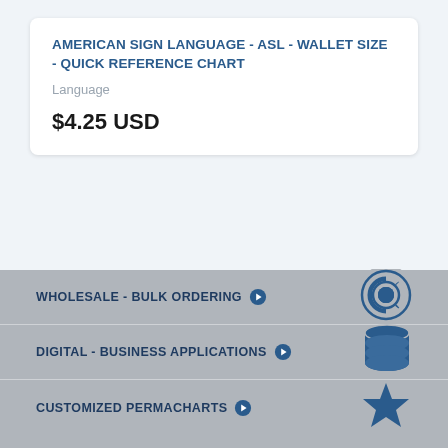AMERICAN SIGN LANGUAGE - ASL - WALLET SIZE - QUICK REFERENCE CHART
Language
$4.25 USD
WHOLESALE - BULK ORDERING
DIGITAL - BUSINESS APPLICATIONS
CUSTOMIZED PERMACHARTS